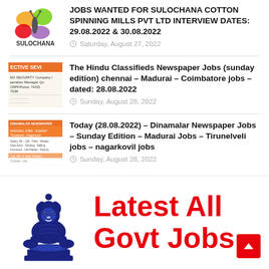[Figure (logo): Sulochana Cotton Spinning Mills logo with colorful butterfly/petals design]
JOBS WANTED FOR SULOCHANA COTTON SPINNING MILLS PVT LTD INTERVIEW DATES: 29.08.2022 & 30.08.2022
Saturday, August 27, 2022
[Figure (photo): Newspaper classified ad thumbnail showing ECTIVE SEVI - ED SECURITY Company, Operation Manager, CRPF/Police, 74015 7636]
The Hindu Classifieds Newspaper Jobs (sunday edition) chennai - Madurai - Coimbatore jobs - dated: 28.08.2022
Sunday, August 28, 2022
[Figure (photo): Dinamalar newspaper jobs ad thumbnail with orange and white sections]
Today (28.08.2022) - Dinamalar Newspaper Jobs - Sunday Edition - Madurai Jobs - Tirunelveli jobs - nagarkovil jobs
Sunday, August 28, 2022
[Figure (logo): Indian government emblem - Ashoka lion capital in blue ink illustration]
Latest All Govt Jobs